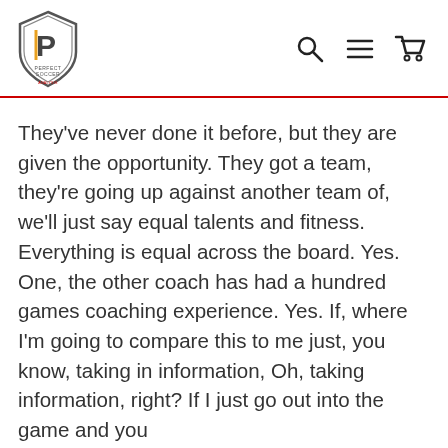[Figure (logo): Perfect Soccer shield logo with stylized P and soccer ball]
They've never done it before, but they are given the opportunity. They got a team, they're going up against another team of, we'll just say equal talents and fitness. Everything is equal across the board. Yes. One, the other coach has had a hundred games coaching experience. Yes. If, where I'm going to compare this to me just, you know, taking in information, Oh, taking information, right? If I just go out into the game and you...